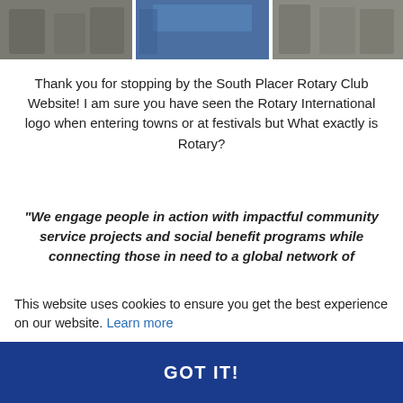[Figure (photo): Three photo panels at the top showing Rotary Club members at events]
Thank you for stopping by the South Placer Rotary Club Website! I am sure you have seen the Rotary International logo when entering towns or at festivals but What exactly is Rotary?
"We engage people in action with impactful community service projects and social benefit programs while connecting those in need to a global network of resources."
As a member of the South Placer Rotary Club, together we do meaningful work for the community. We will have a supportive atmosphere as we become friends, working together to build an inclusive club environment, partnerships within the city, county, school district, business community and regionally with our Brewfest
This website uses cookies to ensure you get the best experience on our website. Learn more
GOT IT!